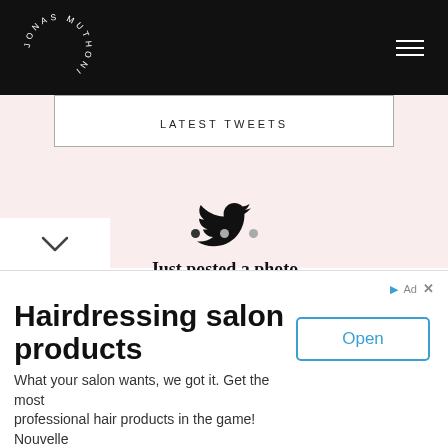JONAS MUTHONI
LATEST TWEETS
[Figure (logo): Twitter bird logo icon in black]
Just posted a photo instagram.com/p/CgsGnxMPQdO/...
3 weeks ago
[Figure (other): Carousel navigation dots — three dots with first active]
[Figure (other): Scroll down chevron button]
Hairdressing salon products
What your salon wants, we got it. Get the most professional hair products in the game! Nouvelle